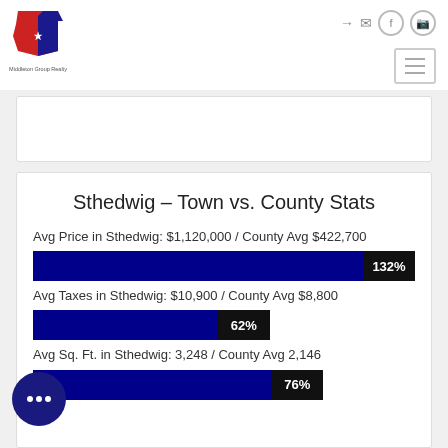[Figure (logo): Middleton Group Realty logo — Texas state shape in red and blue with a star, with company name below]
Sthedwig – Town vs. County Stats
Avg Price in Sthedwig: $1,120,000 / County Avg $422,700
[Figure (bar-chart): Avg Price bar]
Avg Taxes in Sthedwig: $10,900 / County Avg $8,800
[Figure (bar-chart): Avg Taxes bar]
Avg Sq. Ft. in Sthedwig: 3,248 / County Avg 2,146
[Figure (bar-chart): Avg Sq Ft bar]